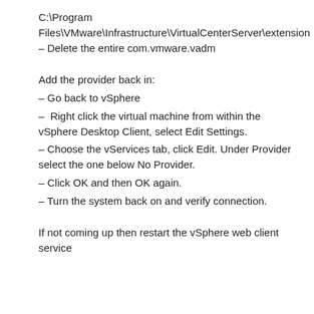C:\Program Files\VMware\Infrastructure\VirtualCenterServer\extension – Delete the entire com.vmware.vadm
Add the provider back in:
– Go back to vSphere
–  Right click the virtual machine from within the vSphere Desktop Client, select Edit Settings.
– Choose the vServices tab, click Edit. Under Provider select the one below No Provider.
– Click OK and then OK again.
– Turn the system back on and verify connection.
If not coming up then restart the vSphere web client service